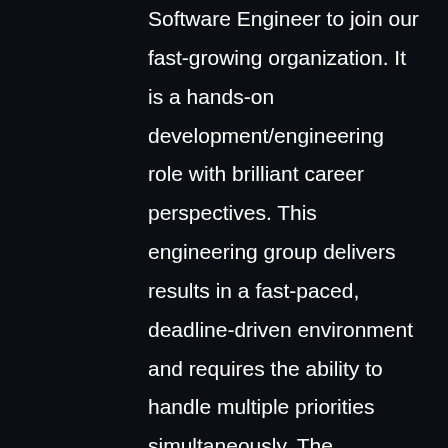Software Engineer to join our fast-growing organization. It is a hands-on development/engineering role with brilliant career perspectives. This engineering group delivers results in a fast-paced, deadline-driven environment and requires the ability to handle multiple priorities simultaneously. The candidate should have an aspiration to be fully hands-on and willing to learn fast, be entirely involved in the process of design, development, maintenance and monitoring of our product while being able to do coding, provide estimates and take part in daily stand-ups.